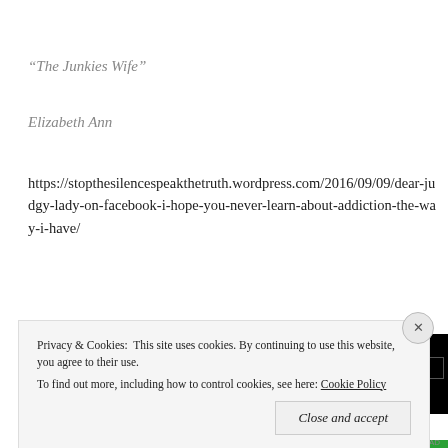“The Junkies Wife”
Elizabeth Ann
https://stopthesilencespeakthetruth.wordpress.com/2016/09/09/dear-judgy-lady-on-facebook-i-hope-you-never-learn-about-addiction-the-way-i-have/
Advertisements
[Figure (other): Black advertisement banner with inner bordered rectangle]
Privacy & Cookies: This site uses cookies. By continuing to use this website, you agree to their use.
To find out more, including how to control cookies, see here: Cookie Policy
Close and accept